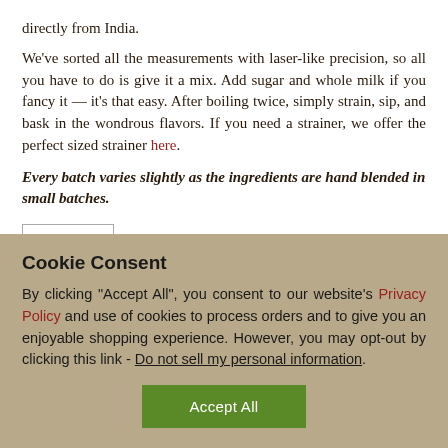directly from India.
We've sorted all the measurements with laser-like precision, so all you have to do is give it a mix. Add sugar and whole milk if you fancy it — it's that easy. After boiling twice, simply strain, sip, and bask in the wondrous flavors. If you need a strainer, we offer the perfect sized strainer here.
Every batch varies slightly as the ingredients are hand blended in small batches.
1
Cookie Consent
By clicking "Accept All", you consent to our website's Privacy Policy and use of cookies to process orders and to give you an enjoyable shopping experience. However, you may opt-out by clicking this link - Do not sell my personal information.